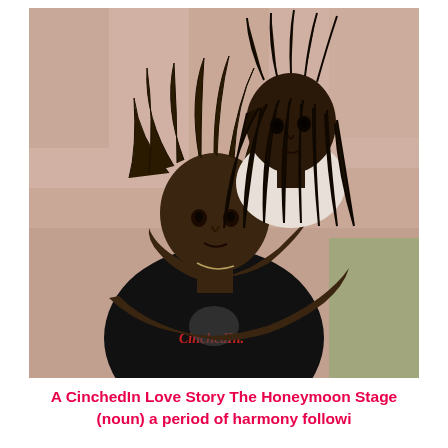[Figure (photo): A young man in a black t-shirt with 'CinchedIn.' written in red lettering on the front, and a young woman with long braids hugging him from behind with her arms around his neck. Both are looking at the camera. The background appears to be an outdoor area with a pinkish-beige pavement and blurred buildings.]
A CinchedIn Love Story The Honeymoon Stage (noun) a period of harmony followi